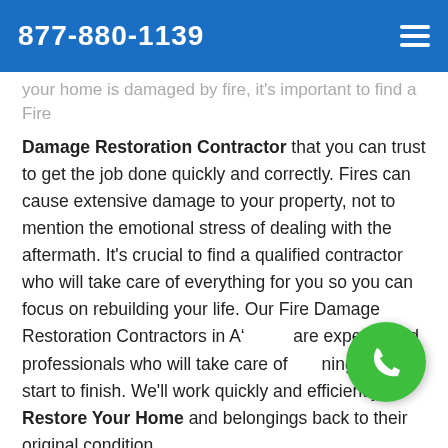877-880-1139
your home is damaged by fire, it's important to find a Fire Damage Restoration Contractor that you can trust to get the job done quickly and correctly. Fires can cause extensive damage to your property, not to mention the emotional stress of dealing with the aftermath. It's crucial to find a qualified contractor who will take care of everything for you so you can focus on rebuilding your life. Our Fire Damage Restoration Contractors in A[ ]are experienced professionals who will take care of[ ]thing from start to finish. We'll work quickly and efficiently to Restore Your Home and belongings back to their original condition.
Commercial Fire Damage Restoration in Albee, SD
A fire in your business can be catastrophic. Not only is the damage to your building and inventory costly, but the